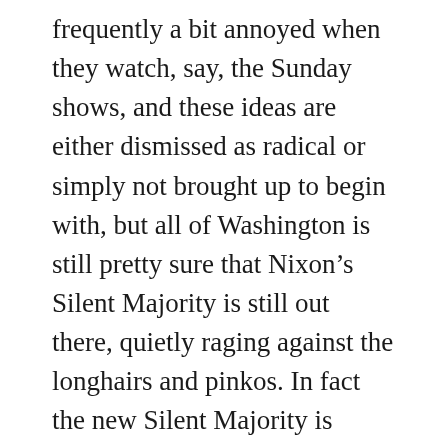frequently a bit annoyed when they watch, say, the Sunday shows, and these ideas are either dismissed as radical or simply not brought up to begin with, but all of Washington is still pretty sure that Nixon’s Silent Majority is still out there, quietly raging against the longhairs and pinkos. In fact the new Silent Majority is basically made up of a bunch of social democrats, wondering why Congress can’t do serious, sensible, bipartisan things like lock up all the bankers and redistribute their loot to the masses.””